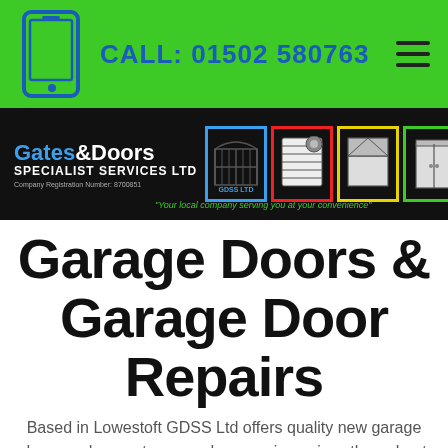CALL: 01502 580763
[Figure (logo): Gates & Doors Specialist Services Ltd logo with four product icon boxes (blue, red, yellow, green borders) and tagline: "Your local company serving you at your convenience"]
Garage Doors & Garage Door Repairs
Based in Lowestoft GDSS Ltd offers quality new garage doors and prompt garage door repair services throughout Norfolk and Suffolk. Friendly staff who are always avialable and happy to help you in any way they can.